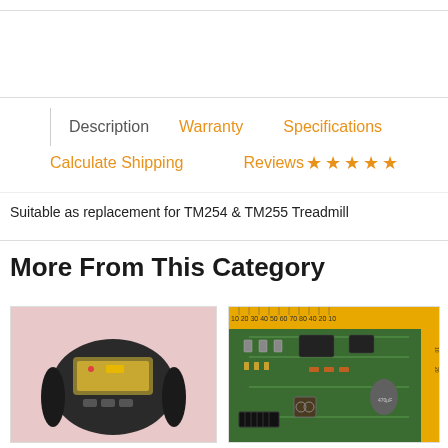Description | Warranty | Specifications
Calculate Shipping | Reviews ☆☆☆☆☆
Suitable as replacement for TM254 & TM255 Treadmill
More From This Category
[Figure (photo): Treadmill console/display unit on pink background]
[Figure (photo): Circuit board next to a yellow ruler for scale]